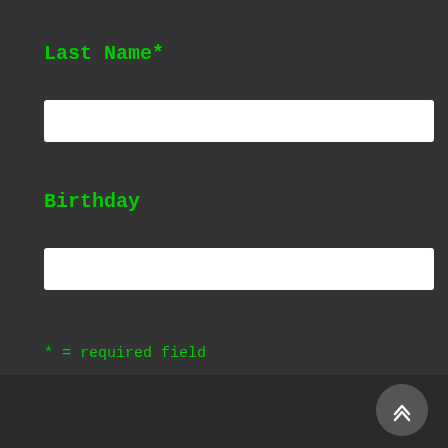Last Name*
[input field]
Birthday
[input field]
* = required field
Subscribe
powered by MailChimp!